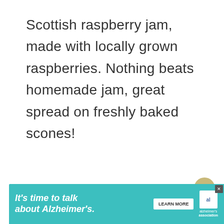Scottish raspberry jam, made with locally grown raspberries. Nothing beats homemade jam, great spread on freshly baked scones!
Tagged With: homemade jam, jam, preserve, scottish raspberries
12 Comments
[Figure (other): Heart/like button (gold circle with heart icon) with count 1, and share button below]
NEXT PAG
[Figure (other): WHAT'S NEXT arrow with thumbnail image and text: riverhouse, inverness]
[Figure (other): Advertisement banner: It's time to talk about Alzheimer's. LEARN MORE. Alzheimer's association logo.]